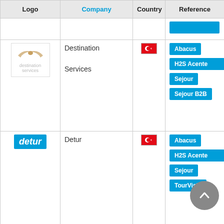| Logo | Company | Country | Reference |
| --- | --- | --- | --- |
|  |  |  |  |
| Destination Services logo | Destination Services | Turkey | Abacus | H2S Acente | Sejour | Sejour B2B |
| Detur logo | Detur | Turkey | Abacus | H2S Acente | Sejour | TourVisio |
| Discerning Collection logo | Discerning Collection | UK | TourVisio |